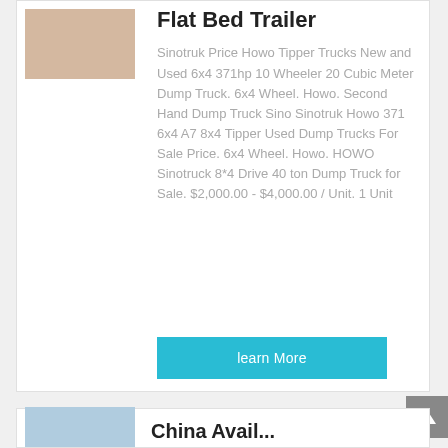Flat Bed Trailer
Sinotruk Price Howo Tipper Trucks New and Used 6x4 371hp 10 Wheeler 20 Cubic Meter Dump Truck. 6x4 Wheel. Howo. Second Hand Dump Truck Sino Sinotruk Howo 371 6x4 A7 8x4 Tipper Used Dump Trucks For Sale Price. 6x4 Wheel. Howo. HOWO Sinotruck 8*4 Drive 40 ton Dump Truck for Sale. $2,000.00 - $4,000.00 / Unit. 1 Unit
learn More
[Figure (photo): Thumbnail image of a flat bed trailer, tan/brown colored]
[Figure (photo): Thumbnail image of a truck, blue sky background, partially visible]